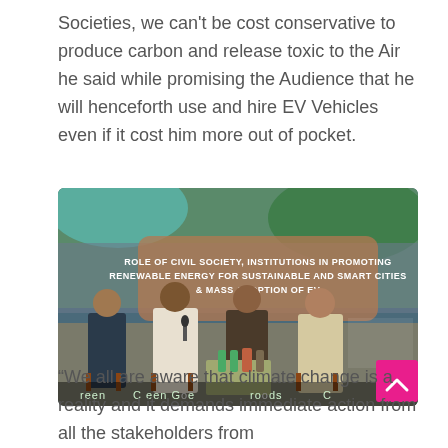Societies, we can't be cost conservative to produce carbon and release toxic to the Air he said while promising the Audience that he will henceforth use and hire EV Vehicles even if it cost him more out of pocket.
[Figure (photo): Panel discussion on stage with four men seated in chairs. A large screen behind them reads: ROLE OF CIVIL SOCIETY, INSTITUTIONS IN PROMOTING RENEWABLE ENERGY FOR SUSTAINABLE AND SMART CITIES & MASS ADOPTION OF EV. Text at the bottom partially reads: reen C een Go e ronds C]
“We all are aware that climate change is a reality and it demands immediate action from all the stakeholders from